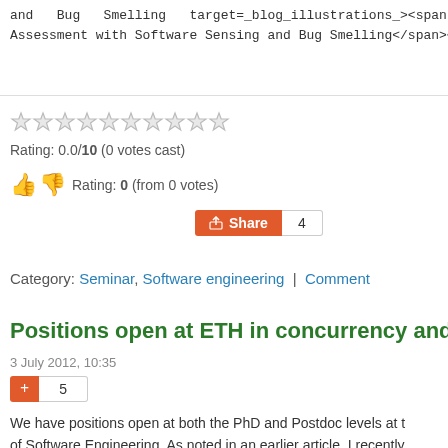and Bug Smelling target= blog_illustrations ><span style= Assessment with Software Sensing and Bug Smelling</span></a
Rating: 0.0/10 (0 votes cast)
Rating: 0 (from 0 votes)
Share 4
Category: Seminar, Software engineering | Comment
Positions open at ETH in concurrency and v
3 July 2012, 10:35
5
We have positions open at both the PhD and Postdoc levels at t of Software Engineering. As noted in an earlier article, I recently received an Advanced Investigator Grant from the European Re